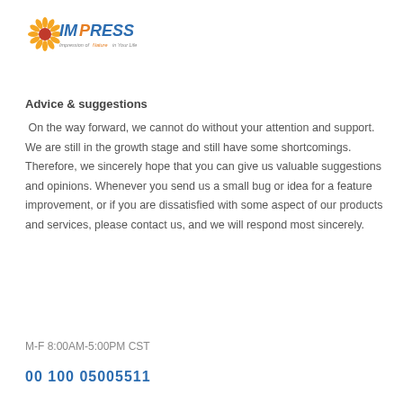[Figure (logo): IMPRESS logo with sunflower graphic and tagline 'Impression of Nature in Your Life']
Advice & suggestions
On the way forward, we cannot do without your attention and support. We are still in the growth stage and still have some shortcomings. Therefore, we sincerely hope that you can give us valuable suggestions and opinions. Whenever you send us a small bug or idea for a feature improvement, or if you are dissatisfied with some aspect of our products and services, please contact us, and we will respond most sincerely.
M-F 8:00AM-5:00PM CST
00 100 05005511